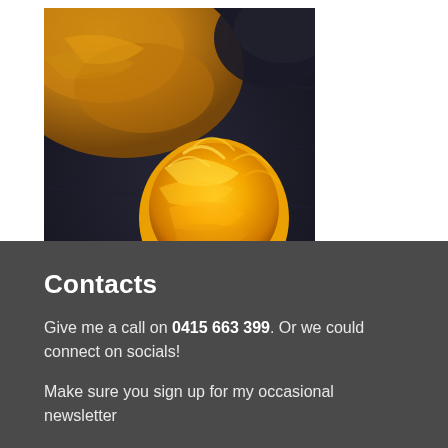[Figure (photo): Yellow/golden wool roving ball and felted wool items on a dark wooden surface]
Shop Workshops
Contacts
Give me a call on 0415 663 399. Or we could connect on socials!
Make sure you sign up for my occasional newsletter